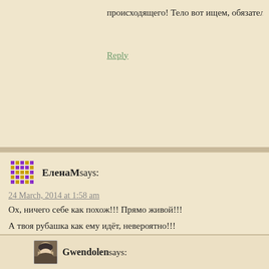происходящего! Тело вот ищем, обязательно найдем
Reply
ЕленаМ says:
24 March, 2014 at 1:58 am
Ох, ничего себе как похож!!! Прямо живой!!!
А твоя рубашка как ему идёт, невероятно!!!
Reply
Gwendolen says:
24 March, 2014 at 8:44 am
Леночка, спасибо большое! Ага, он практически жи
попала. А планируется у меня для него первым Тюде